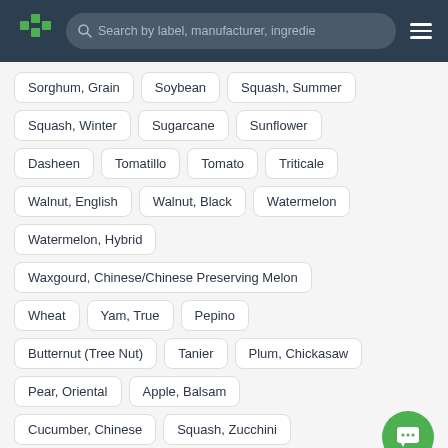[Figure (screenshot): App header with green cross logo, search bar reading 'Search by label, manufacturer, ingredie', and hamburger menu icon on dark navy background]
Sorghum, Grain
Soybean
Squash, Summer
Squash, Winter
Sugarcane
Sunflower
Dasheen
Tomatillo
Tomato
Triticale
Walnut, English
Walnut, Black
Watermelon
Watermelon, Hybrid
Waxgourd, Chinese/Chinese Preserving Melon
Wheat
Yam, True
Pepino
Butternut (Tree Nut)
Tanier
Plum, Chickasaw
Pear, Oriental
Apple, Balsam
Cucumber, Chinese
Squash, Zucchini